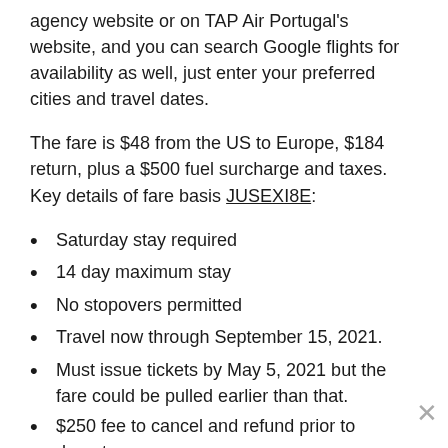agency website or on TAP Air Portugal's website, and you can search Google flights for availability as well, just enter your preferred cities and travel dates.
The fare is $48 from the US to Europe, $184 return, plus a $500 fuel surcharge and taxes. Key details of fare basis JUSEXI8E:
Saturday stay required
14 day maximum stay
No stopovers permitted
Travel now through September 15, 2021.
Must issue tickets by May 5, 2021 but the fare could be pulled earlier than that.
$250 fee to cancel and refund prior to departure
$300 change fee, although tickets currently come with first change fee if